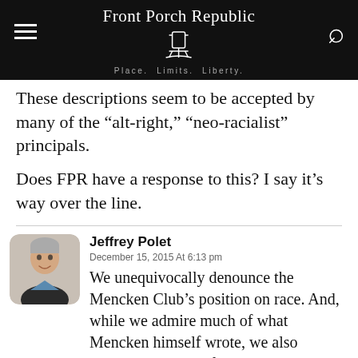Front Porch Republic — Place. Limits. Liberty.
These descriptions seem to be accepted by many of the “alt-right,” “neo-racialist” principals.
Does FPR have a response to this? I say it’s way over the line.
Jeffrey Polet — December 15, 2015 At 6:13 pm — We unequivocally denounce the Mencken Club’s position on race. And, while we admire much of what Mencken himself wrote, we also distance ourselves from a